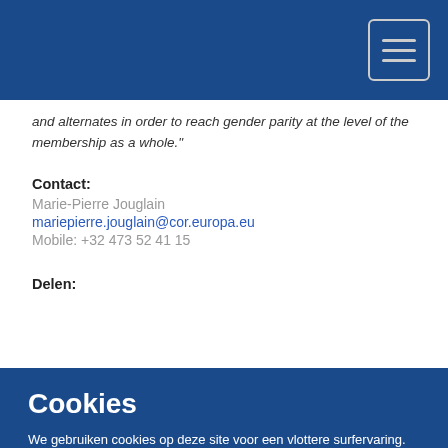[Figure (other): Dark blue header navigation bar with hamburger menu icon (three horizontal lines) in a bordered square button on the right]
and alternates in order to reach gender parity at the level of the membership as a whole."
Contact:
Marie-Pierre Jouglain
mariepierre.jouglain@cor.europa.eu
Mobile: +32 473 52 41 15
Delen:
Cookies
We gebruiken cookies op deze site voor een vlottere surfervaring. Lees hoe we cookies gebruiken en hoe u uw instellingen kunt aanpassen.
Ja, ik accepteer cookies
Nee, ik accepteer geen cookies